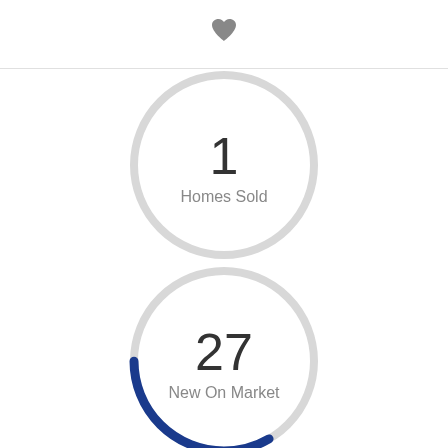[Figure (other): Heart icon at top center]
[Figure (donut-chart): Circular gauge showing 1 Homes Sold, full gray ring]
[Figure (donut-chart): Circular gauge showing 27 New On Market, with blue arc segment approximately 1/27 of ring]